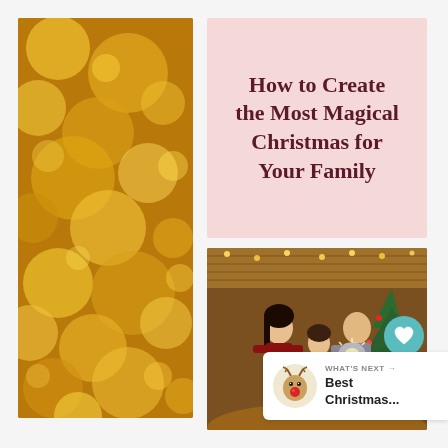[Figure (photo): Bokeh background of golden/yellow blurred circular lights, vertical column on the left side of the page]
How to Create the Most Magical Christmas for Your Family
[Figure (photo): Family of three (mother, daughter, father) smiling indoors next to a decorated Christmas tree with sparkler lights, warm ambiance with string lights on wooden ceiling]
962
WHAT'S NEXT → Best Christmas...